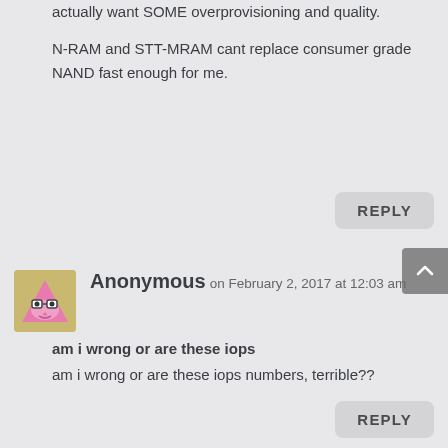actually want SOME overprovisioning and quality.
N-RAM and STT-MRAM cant replace consumer grade NAND fast enough for me.
REPLY
Anonymous on February 2, 2017 at 12:03 am
am i wrong or are these iops
am i wrong or are these iops numbers, terrible??
REPLY